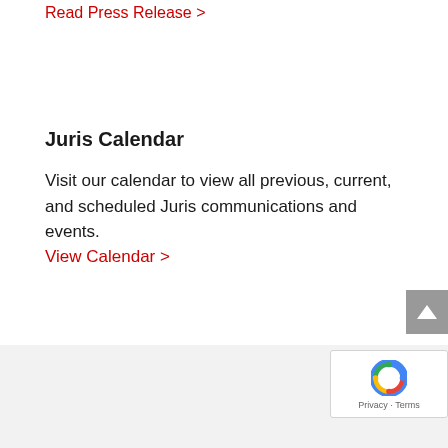Read Press Release >
Juris Calendar
Visit our calendar to view all previous, current, and scheduled Juris communications and events.
View Calendar >
[Figure (other): reCAPTCHA badge widget with Google logo and Privacy/Terms text]